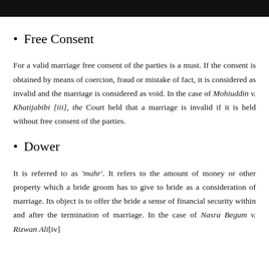Free Consent
For a valid marriage free consent of the parties is a must. If the consent is obtained by means of coercion, fraud or mistake of fact, it is considered as invalid and the marriage is considered as void. In the case of Mohiuddin v. Khatijabibi [iii], the Court held that a marriage is invalid if it is held without free consent of the parties.
Dower
It is referred to as 'mahr'. It refers to the amount of money or other property which a bride groom has to give to bride as a consideration of marriage. Its object is to offer the bride a sense of financial security within and after the termination of marriage. In the case of Nasra Begum v. Rizwan Ali[iv]